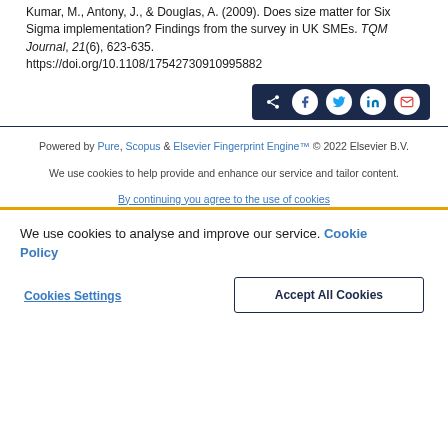Kumari, M., Antony, J., & Douglas, A. (2009). Does size matter for Six Sigma implementation? Findings from the survey in UK SMEs. TQM Journal, 21(6), 623-635. https://doi.org/10.1108/17542730910995882
[Figure (other): Share buttons row: share icon, Facebook, Twitter, LinkedIn, Email social icons on dark navy background]
Powered by Pure, Scopus & Elsevier Fingerprint Engine™ © 2022 Elsevier B.V.
We use cookies to help provide and enhance our service and tailor content.
We use cookies to analyse and improve our service. Cookie Policy
Cookies Settings
Accept All Cookies